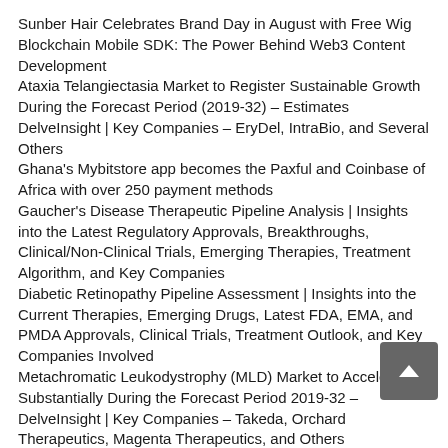Sunber Hair Celebrates Brand Day in August with Free Wig
Blockchain Mobile SDK: The Power Behind Web3 Content Development
Ataxia Telangiectasia Market to Register Sustainable Growth During the Forecast Period (2019-32) – Estimates DelveInsight | Key Companies – EryDel, IntraBio, and Several Others
Ghana's Mybitstore app becomes the Paxful and Coinbase of Africa with over 250 payment methods
Gaucher's Disease Therapeutic Pipeline Analysis | Insights into the Latest Regulatory Approvals, Breakthroughs, Clinical/Non-Clinical Trials, Emerging Therapies, Treatment Algorithm, and Key Companies
Diabetic Retinopathy Pipeline Assessment | Insights into the Current Therapies, Emerging Drugs, Latest FDA, EMA, and PMDA Approvals, Clinical Trials, Treatment Outlook, and Key Companies Involved
Metachromatic Leukodystrophy (MLD) Market to Accelerate Substantially During the Forecast Period 2019-32 – DelveInsight | Key Companies – Takeda, Orchard Therapeutics, Magenta Therapeutics, and Others
Waiha Market Growth Opportunities: Analysis of Epidemiology, Emerging Pipeline Therapies, and Key Companies – Annexon, Alexion Pharmaceuticals, Rigel Pharmaceuticals, Incyte Corporation Working
Post-Traumatic Stress Disorder Market Share Analysis, Growth